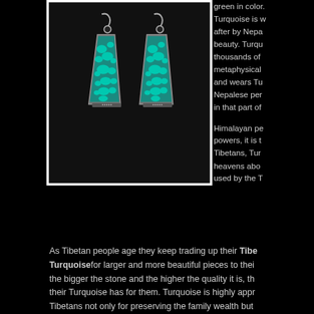[Figure (photo): Two turquoise and silver dangle earrings with trapezoid-shaped turquoise stones featuring black matrix pattern, photographed against a black background]
green in color. Turquoise is w after by Nepa beauty. Turqu thousands of metaphysical and wears Tu Nepalese per in that part of Himalayan pe powers, it is t Tibetans, Tur heavens abo used by the T
As Tibetan people age they keep trading up their Tibe Turquoisefor larger and more beautiful pieces to thei the bigger the stone and the higher the quality it is, th their Turquoise has for them. Turquoise is highly appr Tibetans not only for preserving the family wealth but